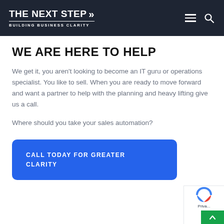THE NEXT STEP >> BUILDING BUSINESS CLARITY
WE ARE HERE TO HELP
We get it, you aren't looking to become an IT guru or operations specialist. You like to sell. When you are ready to move forward and want a partner to help with the planning and heavy lifting give us a call.
Where should you take your sales automation?
CALL TODAY FOR GREATER CLARITY